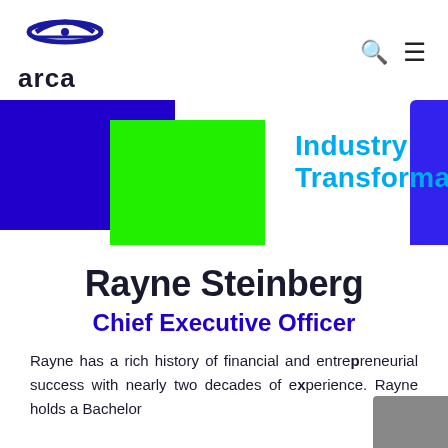arca
[Figure (illustration): Blue and green overlapping rectangles forming a banner graphic with the text 'Industry Transformations' in cyan/blue, and a partial dark blue rectangle on the right edge.]
Rayne Steinberg
Chief Executive Officer
Rayne has a rich history of financial and entrepreneurial success with nearly two decades of experience. Rayne holds a Bachelor